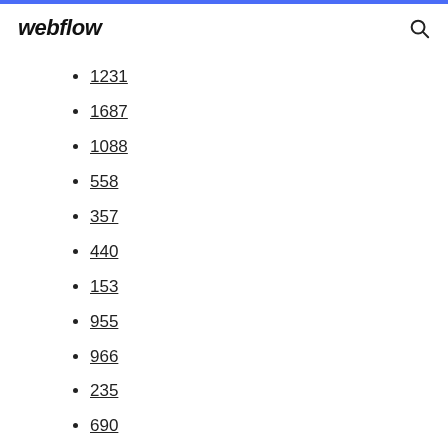webflow
1231
1687
1088
558
357
440
153
955
966
235
690
307